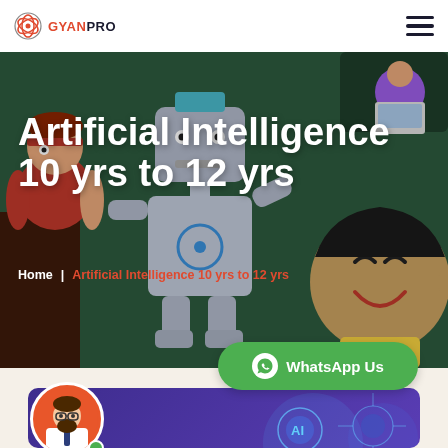GYANPRO
Artificial Intelligence 10 yrs to 12 yrs
Home | Artificial Intelligence 10 yrs to 12 yrs
[Figure (illustration): GyanPro website screenshot showing a hero banner with a robot and children illustration, breadcrumb navigation, WhatsApp button, and a purple card with an avatar and AI graphic]
WhatsApp Us